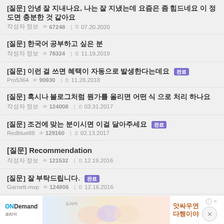[질문] 안녕 잘 지내나요, 나는 잘 지냈는데 요즘은 좀 힘드네요 이 정도면 충분한 것 같아요
작성자 정보  조회 67248  날짜 07.20.2020
[질문] 한국어 공부하고 싶은 분
작성자 정보  조회 78324  날짜 11.19.2019
[질문] 이런 걸 쓰면 혜택이 자동으로 발생한다는데요 완료
Pro5364  조회 90930  날짜 11.28.2018
[질문] 혹시나 블로그처럼 뭔가를 올리면 어떤 식 으로 처리 하나요
작성자 정보  조회 124008  날짜 03.31.2017
[질문] 조건에 맞는 분이시면 이걸 달아주세요 완료
Redblue88  조회 129160  날짜 02.13.2017
[질문] Recommendation
작성자 정보  조회 121532  날짜 12.19.2016
[질문] 잘 부탁드립니다. 완료
Garnett-mvp  조회 124806  날짜 12.16.2016
[질문] 조건에 맞는 분 찾습니다 안녕하세요.. 완료
jungmo
[질문] 안녕하세요